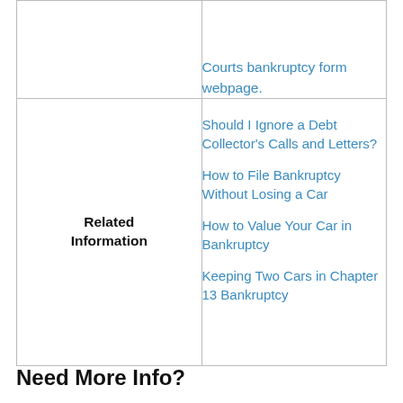|  | Courts bankruptcy form webpage. |
| Related Information | Should I Ignore a Debt Collector's Calls and Letters?
How to File Bankruptcy Without Losing a Car
How to Value Your Car in Bankruptcy
Keeping Two Cars in Chapter 13 Bankruptcy |
Need More Info?